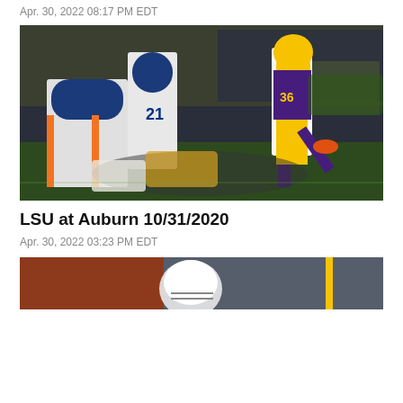Apr. 30, 2022 08:17 PM EDT
[Figure (photo): LSU kicker wearing number 36 in purple and gold uniform kicking the ball during a game against Auburn players in white and blue uniforms on a football field]
LSU at Auburn 10/31/2020
Apr. 30, 2022 03:23 PM EDT
[Figure (photo): Partial view of a football game photo showing a player and goal post, cropped at the bottom of the page]